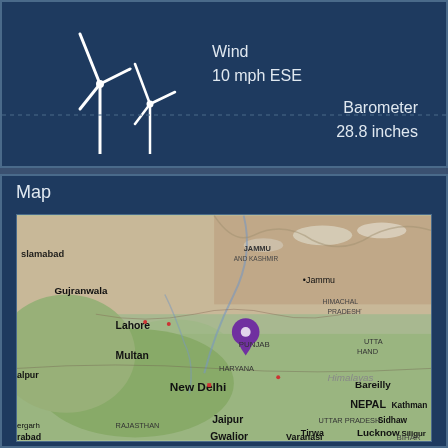[Figure (illustration): Wind turbine icon illustration with two turbines in white on dark blue background]
Wind
10 mph ESE
Barometer
28.8 inches
Map
[Figure (map): Satellite map showing northern India and surrounding regions including Pakistan, Nepal, with a purple location pin marker in the Uttarakhand region. Cities visible include Islamabad, Gujranwala, Lahore, Multan, Jammu, New Delhi, Jaipur, Gwalior, Bareilly, Lucknow, Varanasi, Kathmandu, and regions JAMMU AND KASHMIR, HIMACHAL PRADESH, PUNJAB, HARYANA, RAJASTHAN, UTTAR PRADESH, BIHAR, NEPAL, and Himalayas label.]